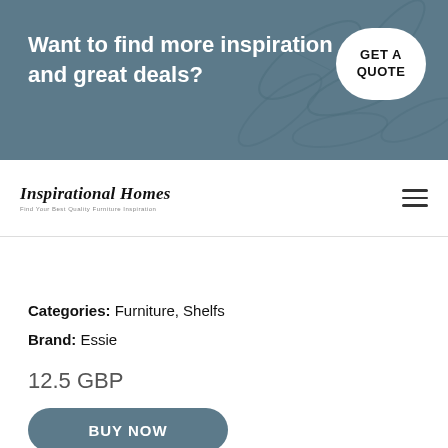Want to find more inspiration and great deals?
GET A QUOTE
[Figure (logo): Inspirational Homes logo with italic serif text and small tagline]
Categories: Furniture, Shelfs
Brand: Essie
12.5 GBP
BUY NOW